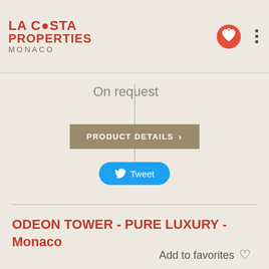LA COSTA PROPERTIES MONACO
On request
PRODUCT DETAILS
Tweet
ODEON TOWER - PURE LUXURY - Monaco
Add to favorites
[Figure (photo): Interior architectural photo of Odeon Tower Monaco showing curved ceiling with blue sky and modern design elements]